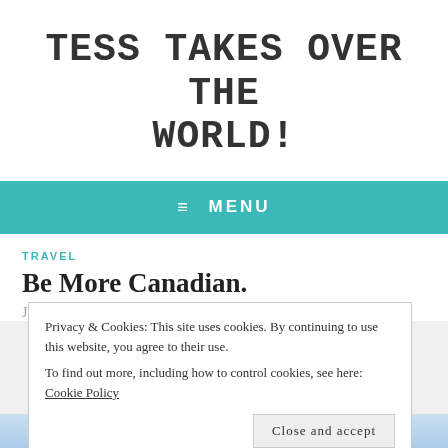TESS TAKES OVER THE WORLD!
≡ MENU
TRAVEL
Be More Canadian.
January 15, 2013   Tess
Privacy & Cookies: This site uses cookies. By continuing to use this website, you agree to their use.
To find out more, including how to control cookies, see here: Cookie Policy
Close and accept
[Figure (photo): Bottom strip showing sky/clouds image, light blue tones]